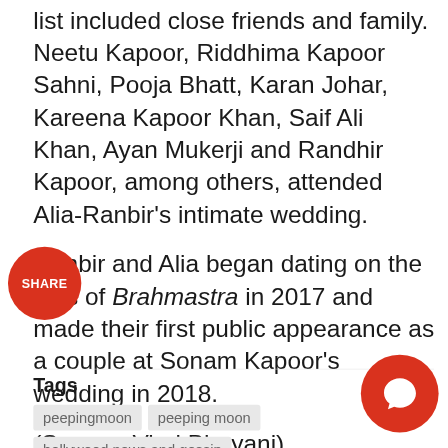list included close friends and family. Neetu Kapoor, Riddhima Kapoor Sahni, Pooja Bhatt, Karan Johar, Kareena Kapoor Khan, Saif Ali Khan, Ayan Mukerji and Randhir Kapoor, among others, attended Alia-Ranbir's intimate wedding.
Ranbir and Alia began dating on the sets of Brahmastra in 2017 and made their first public appearance as a couple at Sonam Kapoor's wedding in 2018.
(Source: Viral Bhayani)
Tags
peepingmoon
peeping moon
bollywood news and gossip